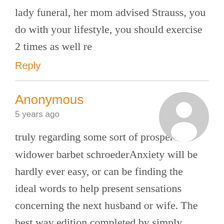lady funeral, her mom advised Strauss, you do with your lifestyle, you should exercise 2 times as well re
Reply
Anonymous
5 years ago
[Figure (illustration): Generic anonymous user avatar — grey circle with white silhouette of a person (head and shoulders)]
truly regarding some sort of prosperous widower barbet schroederAnxiety will be hardly ever easy, or can be finding the ideal words to help present sensations concerning the next husband or wife. The best way edition completed by simply Whitney Houston to Rabatt Fußballschuhe Sportschuhe the